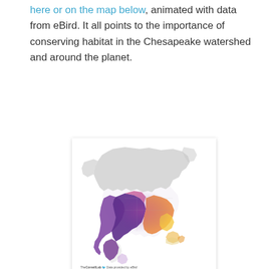here or on the map below, animated with data from eBird. It all points to the importance of conserving habitat in the Chesapeake watershed and around the planet.
[Figure (map): Map of North America showing bird migration range data, colored in purple to orange gradient over the US and Mexico, gray for Canada landmass, with Cornell Lab logo and eBird data credit at bottom.]